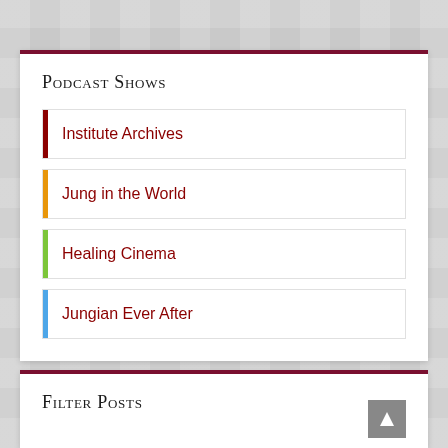Podcast Shows
Institute Archives
Jung in the World
Healing Cinema
Jungian Ever After
Filter Posts